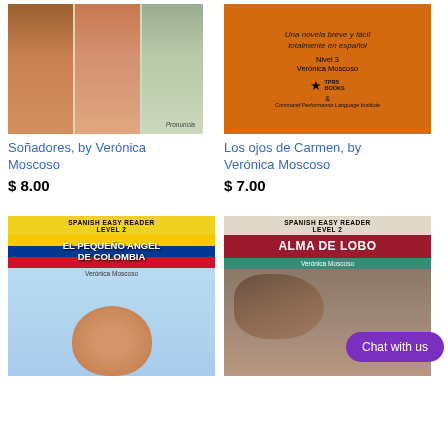[Figure (illustration): Book cover for Soñadores by Verónica Moscoso showing three faces/portraits]
[Figure (illustration): Book cover for Los ojos de Carmen by Verónica Moscoso, orange background with text, Nivel 3, TPRS Books & Command Performance Language Institute]
Soñadores, by Verónica Moscoso
Los ojos de Carmen, by Verónica Moscoso
$ 8.00
$ 7.00
[Figure (illustration): Book cover for El Pequeño Angel de Colombia, Spanish Easy Reader Level 2, by Verónica Moscoso, showing a boy laughing]
[Figure (illustration): Book cover for Alma de Lobo, Spanish Easy Reader Level 2, by Verónica Moscoso, showing a wolf/dog and person, with purple Chat with us button overlay]